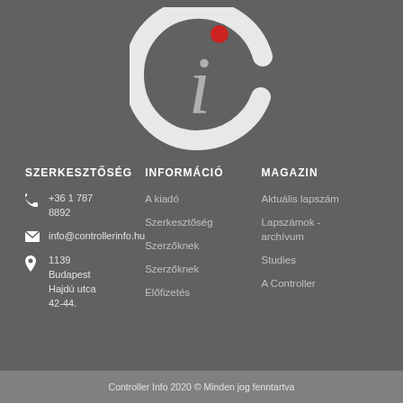[Figure (logo): Controller Info logo: stylized italic letter 'i' in white/grey with a red dot on top, inside a dark grey 'C' shape on a dark grey background]
SZERKESZTŐSÉG
INFORMÁCIÓ
MAGAZIN
+36 1 787 8892
info@controllerinfo.hu
1139 Budapest Hajdú utca 42-44.
A kiadó
Szerkesztőség
Szerzőknek
Előfizetés
Aktuális lapszám
Lapszámok - archívum
Studies
A Controller
Controller Info 2020 © Minden jog fenntartva